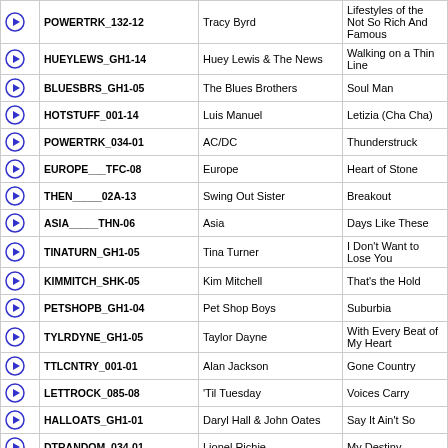|  | Code | Artist | Title |
| --- | --- | --- | --- |
| ▶ | POWERTRK_132-12 | Tracy Byrd | Lifestyles of the Not So Rich And Famous |
| ▶ | HUEYLEWS_GH1-14 | Huey Lewis & The News | Walking on a Thin Line |
| ▶ | BLUESBRS_GH1-05 | The Blues Brothers | Soul Man |
| ▶ | HOTSTUFF_001-14 | Luis Manuel | Letizia (Cha Cha) |
| ▶ | POWERTRK_034-01 | AC/DC | Thunderstruck |
| ▶ | EUROPE___TFC-08 | Europe | Heart of Stone |
| ▶ | THEN_____02A-13 | Swing Out Sister | Breakout |
| ▶ | ASIA_____THN-06 | Asia | Days Like These |
| ▶ | TINATURN_GH1-05 | Tina Turner | I Don't Want to Lose You |
| ▶ | KIMMITCH_SHK-05 | Kim Mitchell | That's the Hold |
| ▶ | PETSHOPB_GH1-04 | Pet Shop Boys | Suburbia |
| ▶ | TYLRDYNE_GH1-05 | Taylor Dayne | With Every Beat of My Heart |
| ▶ | TTLCNTRY_001-01 | Alan Jackson | Gone Country |
| ▶ | LETTROCK_085-08 | 'Til Tuesday | Voices Carry |
| ▶ | HALLOATS_GH1-01 | Daryl Hall & John Oates | Say It Ain't So |
| ▶ | DTRANDOM_034-01 | Lionel Richie | My Destiny |
| ▶ | GLASSTIG_SMP-11 | Glass Tiger | One to One |
| ▶ | SPINDOCT_PFK-01 | Spin Doctors | Jimmy Olsen's Blues |
| ▶ | POWERTRK_126-04 | Bad Company | Can't Get Enough |
| ▶ | SPINDOCT_PFK-06 | Spin Doctors | More Than She Knows |
| ▶ | POWERTRK_1??-?? | Bobby Gil... | Galvin My D... |